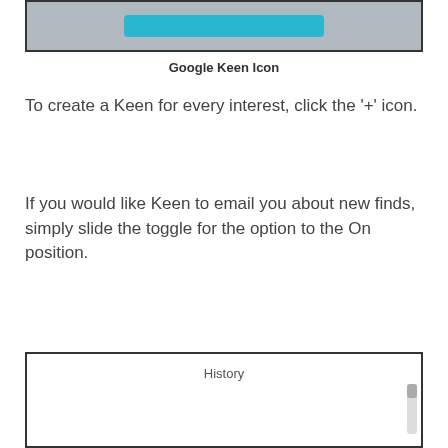[Figure (screenshot): Top portion of a Google Keen app screenshot showing a teal/cyan button on a gray background]
Google Keen Icon
To create a Keen for every interest, click the '+' icon.
If you would like Keen to email you about new finds, simply slide the toggle for the option to the On position.
[Figure (screenshot): Screenshot of a History panel/dialog box with a scrollbar on the right side]